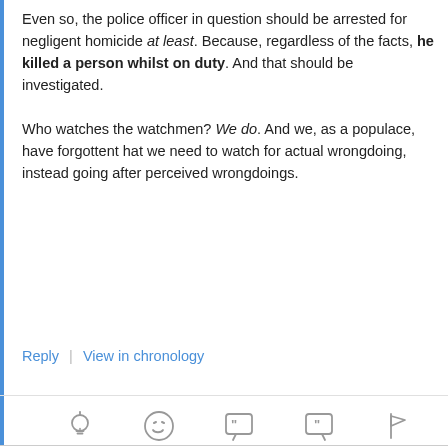Even so, the police officer in question should be arrested for negligent homicide at least. Because, regardless of the facts, he killed a person whilst on duty. And that should be investigated.

Who watches the watchmen? We do. And we, as a populace, have forgottent hat we need to watch for actual wrongdoing, instead going after perceived wrongdoings.
Reply | View in chronology
[Figure (other): Row of five action icon buttons: lightbulb, laughing emoji, open-quote speech bubble, close-quote speech bubble, flag]
Trevor   August 25, 2014 at 3:35 pm
This site, like most other sites on the web, uses cookies. For more information, see our privacy policy
GOT IT